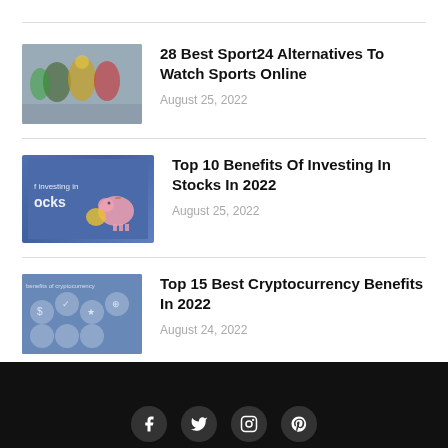[Figure (photo): Thumbnail image of sports players on a court]
28 Best Sport24 Alternatives To Watch Sports Online
August 25, 2022
[Figure (photo): Thumbnail image related to investing in stocks, showing text 'Investing in Stocks' with piggy bank]
Top 10 Benefits Of Investing In Stocks In 2022
August 25, 2022
[Figure (photo): Thumbnail image about cryptocurrency benefits with circular icons]
Top 15 Best Cryptocurrency Benefits In 2022
August 24, 2022
Social media icons: Facebook, Twitter, Instagram, Pinterest